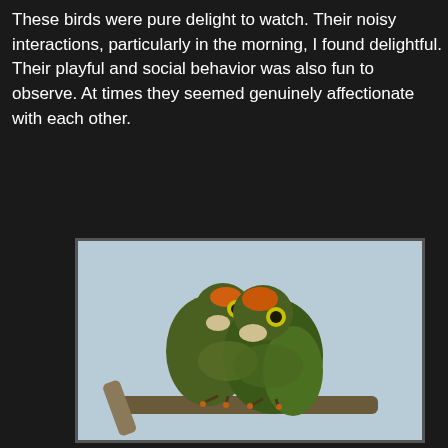These birds were pure delight to watch. Their noisy interactions, particularly in the morning, I found delightful. Their playful and social behavior was also fun to observe. At times they seemed genuinely affectionate with each other.
[Figure (photo): Two green parrots with orange and yellow markings on their heads, sitting closely together on a branch against a light blue sky. They appear to be nuzzling or preening each other affectionately.]